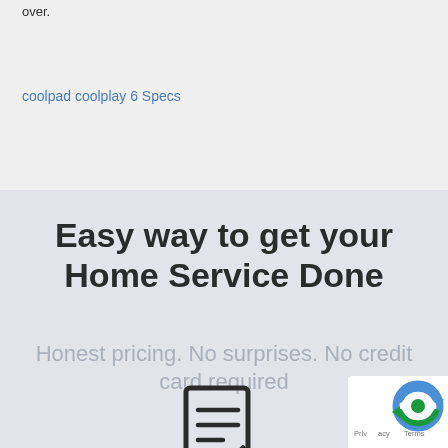over.
coolpad coolplay 6 Specs
Easy way to get your Home Service Done
Honest pricing. No surprises. No credit card required
[Figure (illustration): Checklist/document icon with a checkmark at the bottom, rendered as a dark outline icon]
[Figure (logo): reCAPTCHA badge with blue and green circular arrow logo and text 'Privacy Terms']